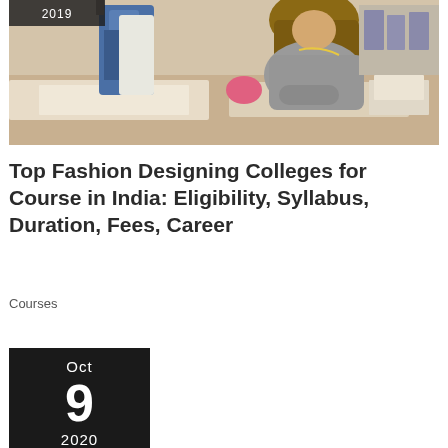[Figure (photo): Fashion design studio scene showing a woman with long hair wearing a grey sweater leaning over a work table with fabric and papers, with blue garment on a mannequin/rack in the background. A date badge '2019' is visible in the top-left corner.]
Top Fashion Designing Colleges for Course in India: Eligibility, Syllabus, Duration, Fees, Career
Courses
[Figure (other): Dark date badge card showing Oct 9 2020]